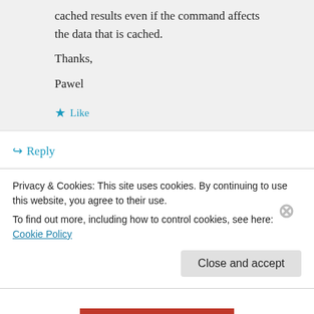cached results even if the command affects the data that is cached.
Thanks,
Pawel
Like
Reply
fofo on June 24, 2015 at 4:48 am
hello again,
Privacy & Cookies: This site uses cookies. By continuing to use this website, you agree to their use.
To find out more, including how to control cookies, see here: Cookie Policy
Close and accept